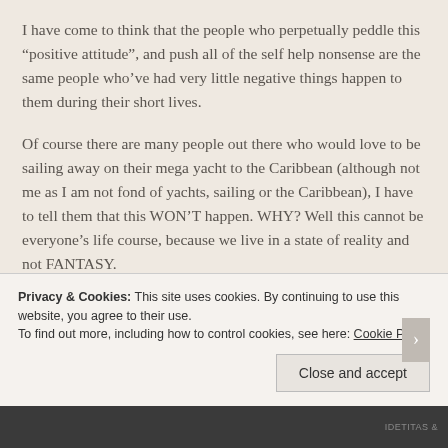I have come to think that the people who perpetually peddle this “positive attitude”, and push all of the self help nonsense are the same people who’ve had very little negative things happen to them during their short lives.
Of course there are many people out there who would love to be sailing away on their mega yacht to the Caribbean (although not me as I am not fond of yachts, sailing or the Caribbean), I have to tell them that this WON’T happen. WHY? Well this cannot be everyone’s life course, because we live in a state of reality and not FANTASY.
99 times out of a 100 people’s lives consist of sucking up the
Privacy & Cookies: This site uses cookies. By continuing to use this website, you agree to their use.
To find out more, including how to control cookies, see here: Cookie Policy
Close and accept